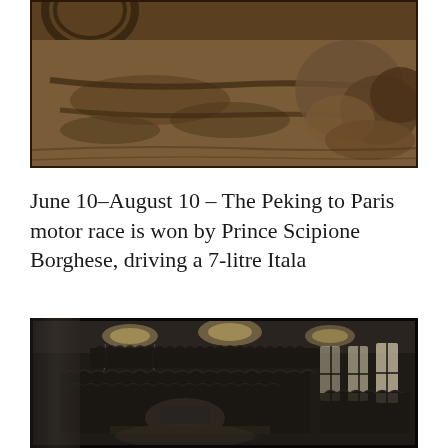[Figure (photo): Sepia-toned historical photograph showing a muddy road or ground with wheel tracks and debris, partial view of a vehicle wheel visible at top, and rocky rubble on the right side.]
June 10–August 10 – The Peking to Paris motor race is won by Prince Scipione Borghese, driving a 7-litre Itala
[Figure (photo): Black and white historical photograph showing a large formal assembly or conference hall filled with many people in dark formal attire, with ornate chandeliers hanging from the ceiling and tall arched windows letting in light from the right side.]